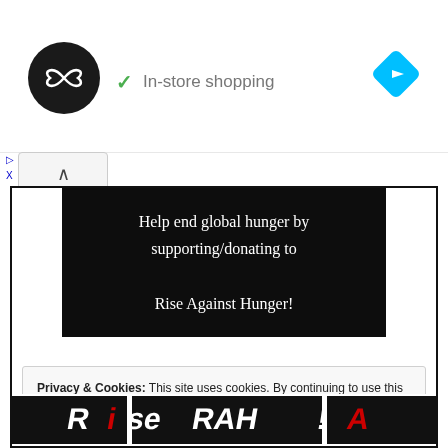[Figure (screenshot): Ad banner with circular dark logo containing infinity-like symbol, checkmark with 'In-store shopping' text, and blue diamond navigation icon on right]
▷
X
[Figure (screenshot): Collapse/chevron up button]
Help end global hunger by supporting/donating to

Rise Against Hunger!
Privacy & Cookies: This site uses cookies. By continuing to use this website, you agree to their use.
To find out more, including how to control cookies, see here: Cookie Policy
[Figure (screenshot): Close and accept button]
[Figure (screenshot): Bottom partial image strip showing Rise Against Hunger logo/branding in black, white and red]